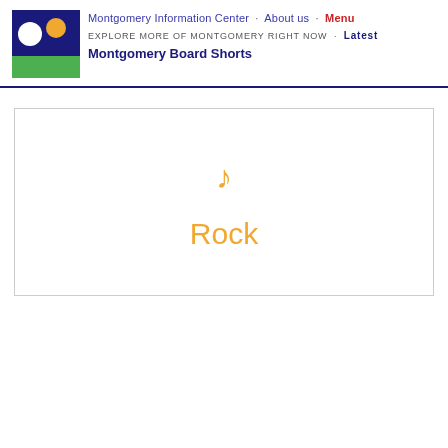Montgomery Information Center · About us · Menu
EXPLORE MORE OF MONTGOMERY RIGHT NOW · Latest
Montgomery Board Shorts
[Figure (illustration): Music note icon (♪) in orange/gold color inside a bordered white box, with the word 'Rock' below it in orange/gold text]